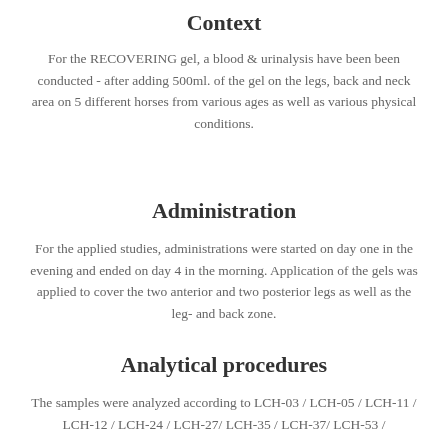Context
For the RECOVERING gel, a blood & urinalysis have been been conducted - after adding 500ml. of the gel on the legs, back and neck area on 5 different horses from various ages as well as various physical conditions.
Administration
For the applied studies, administrations were started on day one in the evening and ended on day 4 in the morning. Application of the gels was applied to cover the two anterior and two posterior legs as well as the leg- and back zone.
Analytical procedures
The samples were analyzed according to LCH-03 / LCH-05 / LCH-11 / LCH-12 / LCH-24 / LCH-27/ LCH-35 / LCH-37/ LCH-53 /